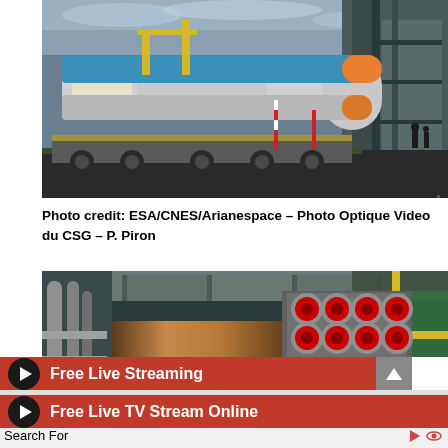[Figure (photo): Soyuz rocket on horizontal transport vehicle being moved to launch pad, showing rocket with blue boosters on a large multi-wheeled transporter at the Guiana Space Centre]
Photo credit: ESA/CNES/Arianespace – Photo Optique Video du CSG – P. Piron
[Figure (photo): Close-up view of Soyuz rocket engine cluster showing multiple RD-107/108 engine nozzles with red protective covers, inside a large assembly building]
Search For
Free Live Streaming
Free Live TV Stream Online